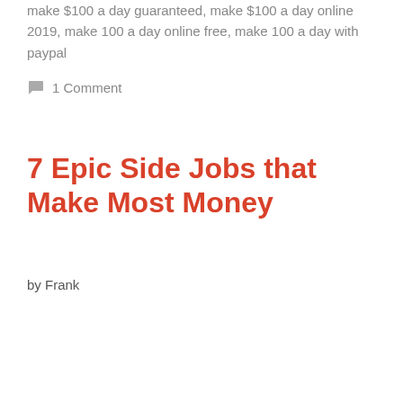make $100 a day guaranteed, make $100 a day online 2019, make 100 a day online free, make 100 a day with paypal
1 Comment
7 Epic Side Jobs that Make Most Money
by Frank